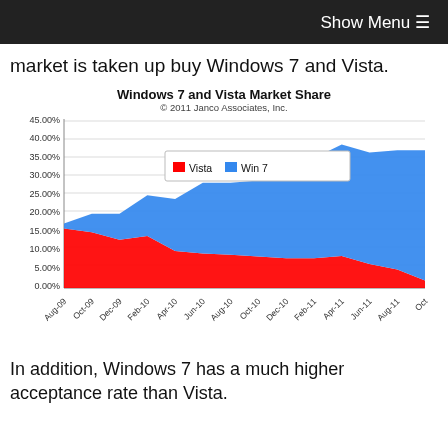Show Menu ≡
market is taken up buy Windows 7 and Vista.
[Figure (area-chart): Windows 7 and Vista Market Share]
In addition, Windows 7 has a much higher acceptance rate than Vista.